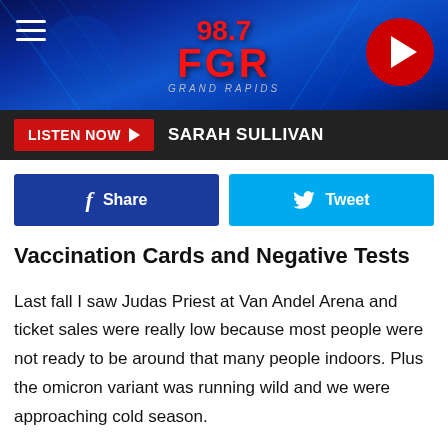[Figure (screenshot): 98.7 FGR Grand Rapids radio station header banner with blue neon background, hamburger menu icon on left, red and white 98.7 FGR logo in center, red circular play button on right]
LISTEN NOW ▶  SARAH SULLIVAN
[Figure (infographic): Two social sharing buttons: blue Facebook Share button and cyan Twitter Tweet button]
Vaccination Cards and Negative Tests
Last fall I saw Judas Priest at Van Andel Arena and ticket sales were really low because most people were not ready to be around that many people indoors. Plus the omicron variant was running wild and we were approaching cold season.
I had to show my vaccination card to enter the arena, wore a mask at the show, and sat in an area there were no other